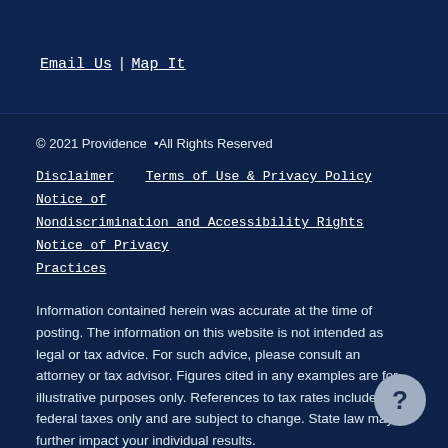Email Us | Map It
© 2021 Providence •All Rights Reserved
Disclaimer    Terms of Use & Privacy Policy    Notice of Nondiscrimination and Accessibility Rights    Notice of Privacy Practices
Information contained herein was accurate at the time of posting. The information on this website is not intended as legal or tax advice. For such advice, please consult an attorney or tax advisor. Figures cited in any examples are for illustrative purposes only. References to tax rates include federal taxes only and are subject to change. State law may further impact your individual results.